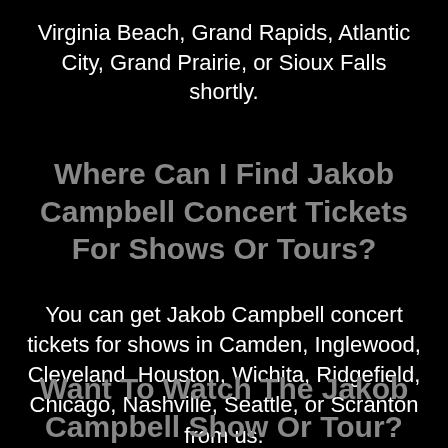Virginia Beach, Grand Rapids, Atlantic City, Grand Prairie, or Sioux Falls shortly.
Where Can I Find Jakob Campbell Concert Tickets For Shows Or Tours?
You can get Jakob Campbell concert tickets for shows in Camden, Inglewood, Cleveland, Houston, Wichita, Ridgefield, Chicago, Nashville, Seattle, or Scranton from us.
Want To Watch The Jakob Campbell Show Or Tour?